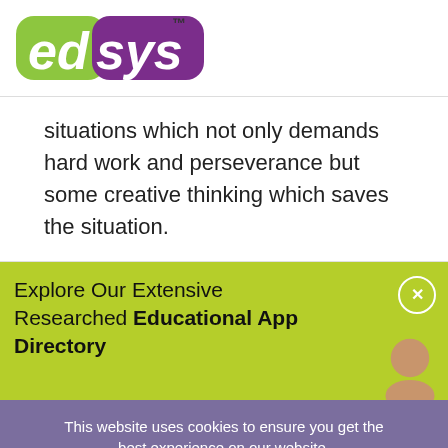[Figure (logo): edsys logo with green 'ed' and purple 'sys' text, TM superscript]
situations which not only demands hard work and perseverance but some creative thinking which saves the situation.
Explore Our Extensive Researched Educational App Directory
This website uses cookies to ensure you get the best experience on our website. Accept Cookies  Decline